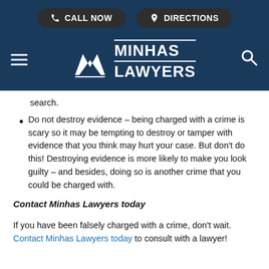[Figure (screenshot): Top navigation bar with 'CALL NOW' and 'DIRECTIONS' buttons on dark background, Minhas Lawyers logo with hamburger menu and search icon]
search.
Do not destroy evidence – being charged with a crime is scary so it may be tempting to destroy or tamper with evidence that you think may hurt your case. But don't do this! Destroying evidence is more likely to make you look guilty – and besides, doing so is another crime that you could be charged with.
Contact Minhas Lawyers today
If you have been falsely charged with a crime, don't wait. Contact Minhas Lawyers today to consult with a lawyer!